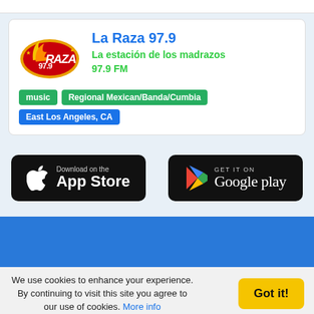[Figure (logo): La Raza 97.9 radio station logo — orange and yellow flame-style badge with '97.9' and 'RAZA' text]
La Raza 97.9
La estación de los madrazos
97.9 FM
music | Regional Mexican/Banda/Cumbia | East Los Angeles, CA
[Figure (logo): Download on the App Store badge (black rounded rectangle, Apple logo, text 'Download on the App Store')]
[Figure (logo): GET IT ON Google play badge (black rounded rectangle, Google Play triangle logo in color, text 'GET IT ON Google play')]
We use cookies to enhance your experience. By continuing to visit this site you agree to our use of cookies. More info